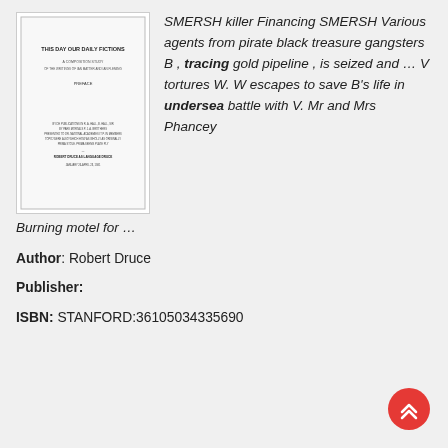[Figure (illustration): Thumbnail image of a book cover titled 'THIS DAY OUR DAILY FICTIONS' with small text below]
SMERSH killer Financing SMERSH Various agents from pirate black treasure gangsters B , tracing gold pipeline , is seized and … V tortures W. W escapes to save B's life in undersea battle with V. Mr and Mrs Phancey Burning motel for …
Author: Robert Druce
Publisher:
ISBN: STANFORD:36105034335690